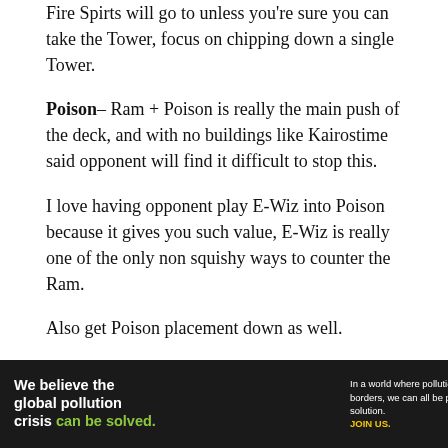Fire Spirts will go to unless you're sure you can take the Tower, focus on chipping down a single Tower.
Poison– Ram + Poison is really the main push of the deck, and with no buildings like Kairostime said opponent will find it difficult to stop this.
I love having opponent play E-Wiz into Poison because it gives you such value, E-Wiz is really one of the only non squishy ways to counter the Ram.
Also get Poison placement down as well.
Here though I was wrong, I assumed opponent had a Tombstone because Lavahound has Tombstone so my placement on the Poison was a bit to the right so if
[Figure (infographic): Pure Earth advertisement banner. Dark background. Text: 'We believe the global pollution crisis can be solved.' and 'In a world where pollution doesn't stop at borders, we can all be part of the solution. JOIN US.' Pure Earth logo with diamond/arrow icon on right.]